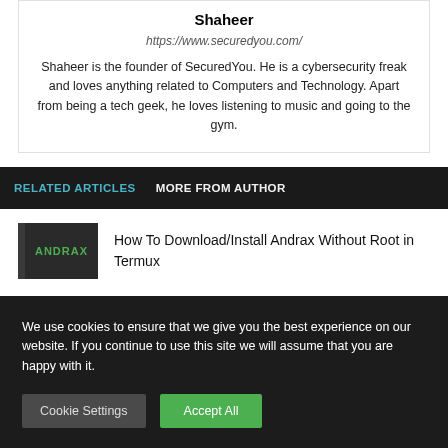Shaheer
https://www.securedyou.com/
Shaheer is the founder of SecuredYou. He is a cybersecurity freak and loves anything related to Computers and Technology. Apart from being a tech geek, he loves listening to music and going to the gym.
RELATED ARTICLES   MORE FROM AUTHOR
How To Download/Install Andrax Without Root in Termux
We use cookies to ensure that we give you the best experience on our website. If you continue to use this site we will assume that you are happy with it.